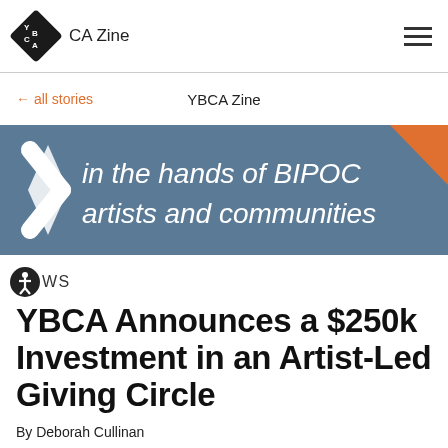YBCA Zine
← all stories   YBCA Zine
[Figure (illustration): Blue banner image with italic white text reading 'in the hands of BIPOC artists and communities', with white chevron/arrow shapes on the left and an orange triangle in the upper right corner.]
WS
YBCA Announces a $250k Investment in an Artist-Led Giving Circle
By Deborah Cullinan